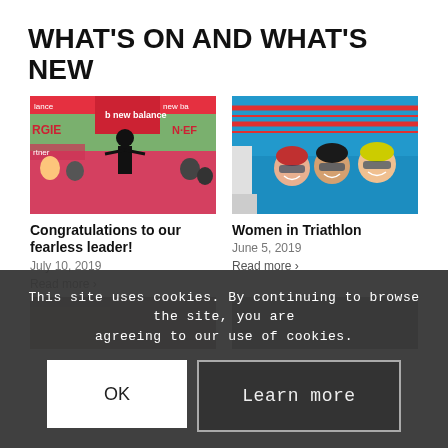WHAT'S ON AND WHAT'S NEW
[Figure (photo): Triathlete crossing finish line at New Balance event, crowd watching]
Congratulations to our fearless leader!
July 10, 2019
Read more >
[Figure (photo): Three women swimmers smiling at pool edge]
Women in Triathlon
June 5, 2019
Read more >
This site uses cookies. By continuing to browse the site, you are agreeing to our use of cookies.
OK
Learn more